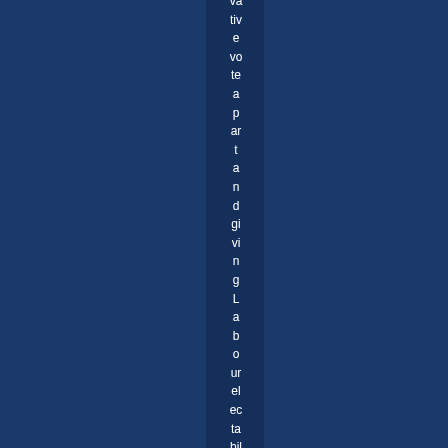vative vote apart and giving Labour electability for as lo